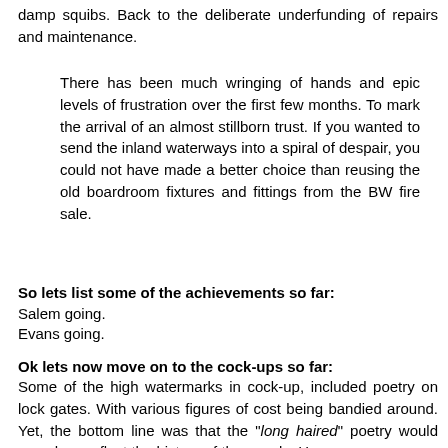damp squibs. Back to the deliberate underfunding of repairs and maintenance.
There has been much wringing of hands and epic levels of frustration over the first few months. To mark the arrival of an almost stillborn trust. If you wanted to send the inland waterways into a spiral of despair, you could not have made a better choice than reusing the old boardroom fixtures and fittings from the BW fire sale.
So lets list some of the achievements so far:
Salem going.
Evans going.
Ok lets now move on to the cock-ups so far:
Some of the high watermarks in cock-up, included poetry on lock gates. With various figures of cost being bandied around. Yet, the bottom line was that the "long haired" poetry would somehow reflect the history of the canals. However